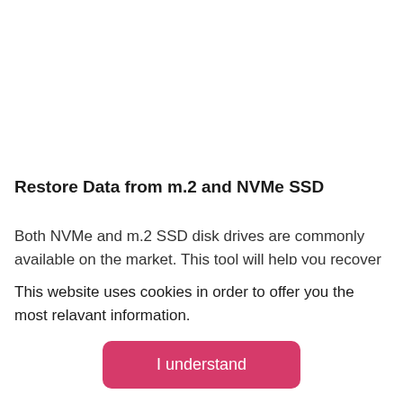Restore Data from m.2 and NVMe SSD
Both NVMe and m.2 SSD disk drives are commonly available on the market. This tool will help you recover previously deleted files from the two types of SSD drives. No matter what type of SSD you own, this utility will come
This website uses cookies in order to offer you the most relavant information.